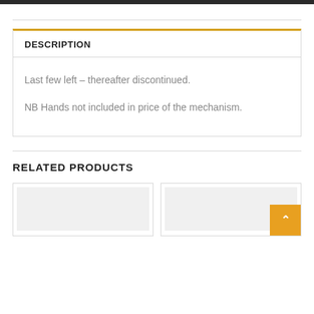DESCRIPTION
Last few left – thereafter discontinued.
NB Hands not included in price of the mechanism.
RELATED PRODUCTS
[Figure (other): Two related product card thumbnails with grey placeholder image areas, and an orange back-to-top button with upward chevron in the bottom-right corner]